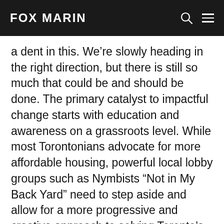FOX MARIN
a dent in this. We’re slowly heading in the right direction, but there is still so much that could be and should be done. The primary catalyst to impactful change starts with education and awareness on a grassroots level. While most Torontonians advocate for more affordable housing, powerful local lobby groups such as Nymbists “Not in My Back Yard” need to step aside and allow for a more progressive and creative approach to solving Toronto’s housing crisis. We can assure you that our tent communities, underground parking lots, and vacant retail storefronts aren’t to provide suitable